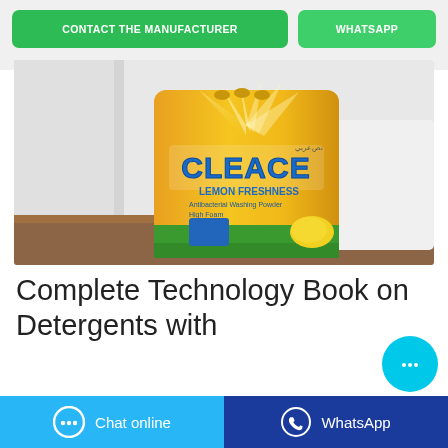CONTACT THE MANUFACTURER
WHATSAPP
[Figure (photo): Photo of a yellow CLEACE Lemon Freshness antibacterial washing powder bag sitting on a wooden table with white curtains/cloth in background]
Complete Technology Book on Detergents with
Chat online
WhatsApp